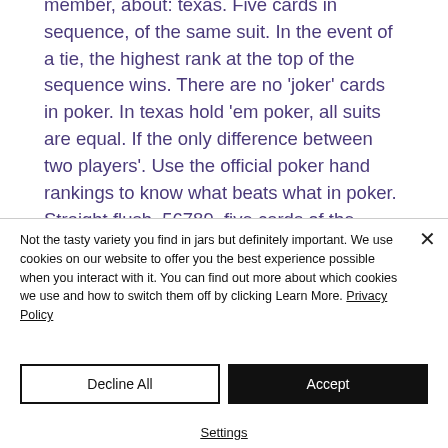member, about: texas. Five cards in sequence, of the same suit. In the event of a tie, the highest rank at the top of the sequence wins. There are no 'joker' cards in poker. In texas hold 'em poker, all suits are equal. If the only difference between two players'. Use the official poker hand rankings to know what beats what in poker. Straight flush, 56789, five cards of the same suit in sequential order Coral
Not the tasty variety you find in jars but definitely important. We use cookies on our website to offer you the best experience possible when you interact with it. You can find out more about which cookies we use and how to switch them off by clicking Learn More. Privacy Policy
Decline All
Accept
Settings